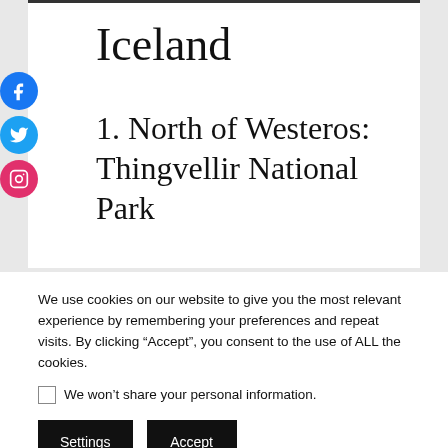Iceland
1. North of Westeros: Thingvellir National Park
We use cookies on our website to give you the most relevant experience by remembering your preferences and repeat visits. By clicking “Accept”, you consent to the use of ALL the cookies.
We won’t share your personal information.
Settings
Accept